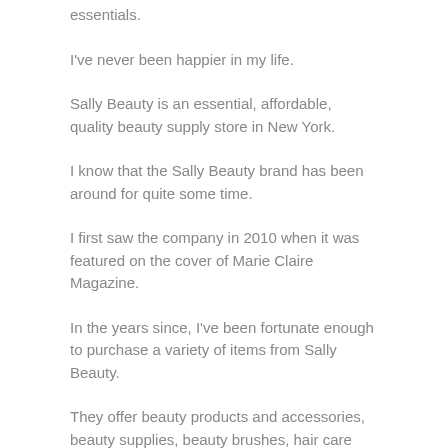essentials.
I've never been happier in my life.
Sally Beauty is an essential, affordable, quality beauty supply store in New York.
I know that the Sally Beauty brand has been around for quite some time.
I first saw the company in 2010 when it was featured on the cover of Marie Claire Magazine.
In the years since, I've been fortunate enough to purchase a variety of items from Sally Beauty.
They offer beauty products and accessories, beauty supplies, beauty brushes, hair care products, makeup, nail care, beauty tools, and more.